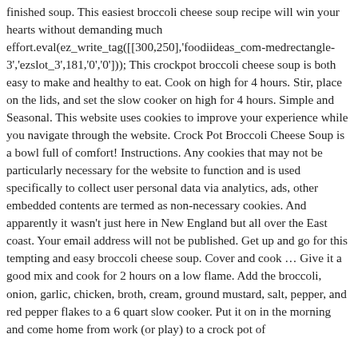finished soup. This easiest broccoli cheese soup recipe will win your hearts without demanding much effort.eval(ez_write_tag([[300,250],'foodiideas_com-medrectangle-3','ezslot_3',181,'0','0'])); This crockpot broccoli cheese soup is both easy to make and healthy to eat. Cook on high for 4 hours. Stir, place on the lids, and set the slow cooker on high for 4 hours. Simple and Seasonal. This website uses cookies to improve your experience while you navigate through the website. Crock Pot Broccoli Cheese Soup is a bowl full of comfort! Instructions. Any cookies that may not be particularly necessary for the website to function and is used specifically to collect user personal data via analytics, ads, other embedded contents are termed as non-necessary cookies. And apparently it wasn't just here in New England but all over the East coast. Your email address will not be published. Get up and go for this tempting and easy broccoli cheese soup. Cover and cook … Give it a good mix and cook for 2 hours on a low flame. Add the broccoli, onion, garlic, chicken, broth, cream, ground mustard, salt, pepper, and red pepper flakes to a 6 quart slow cooker. Put it on in the morning and come home from work (or play) to a crock pot of